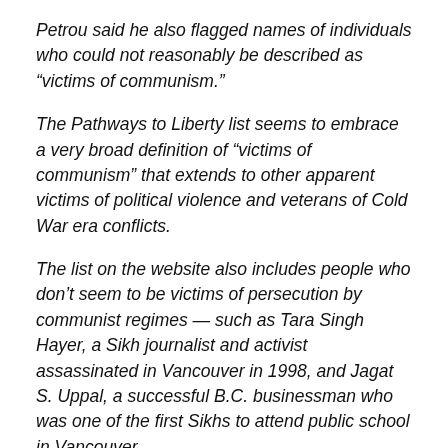Petrou said he also flagged names of individuals who could not reasonably be described as “victims of communism.”
The Pathways to Liberty list seems to embrace a very broad definition of “victims of communism” that extends to other apparent victims of political violence and veterans of Cold War era conflicts.
The list on the website also includes people who don’t seem to be victims of persecution by communist regimes — such as Tara Singh Hayer, a Sikh journalist and activist assassinated in Vancouver in 1998, and Jagat S. Uppal, a successful B.C. businessman who was one of the first Sikhs to attend public school in Vancouver.
Tribute to Liberty’s website and newsletter say that the Pathways to Liberty project features stories about victims